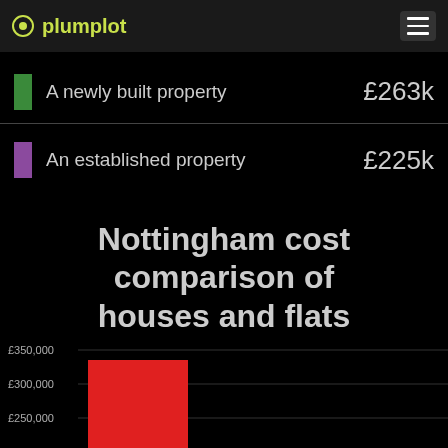plumplot
A newly built property  £263k
An established property  £225k
Nottingham cost comparison of houses and flats
August 2021 - July 2022
[Figure (bar-chart): Partial bar chart visible showing at least one red bar reaching approximately £330,000, with y-axis gridlines at £250,000, £300,000, £350,000]